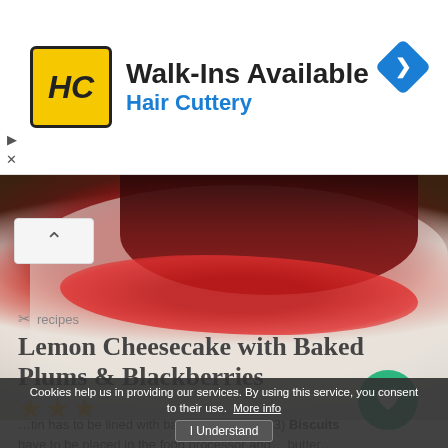[Figure (infographic): Hair Cuttery advertisement banner. Yellow square logo with 'HC' in black italic letters, headline 'Walk-Ins Available' in black, 'Hair Cuttery' in blue. Blue diamond navigation arrow icon at right.]
[Figure (photo): Close-up food photo of a white plate with a portion of cheesecake topped with dark baked plums and blackberries with red berry sauce. A green circular heart/favorite button overlays the bottom-right of the image.]
recipes
Lemon Cheesecake with Baked Plums & Blackberries
★★★
…tin has to be lined with baking parchment. 3) Biscuits have to be placed in the food processor and… butter…
Cookies help us in providing our services. By using this service, you consent to their use. More info  I Understand